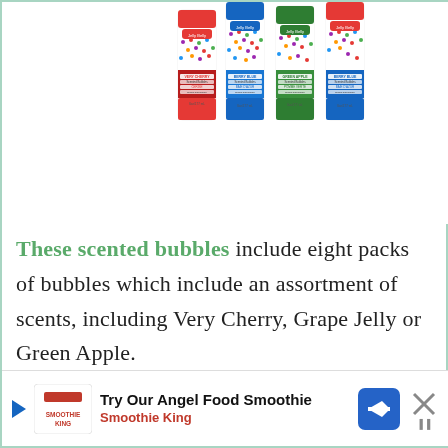[Figure (photo): Product photo showing multiple Jelly Belly scented bubble bottles arranged together, featuring Very Cherry, Berry Blue, and Green Apple scents, each labeled 6 oz / 177 mL]
These scented bubbles include eight packs of bubbles which include an assortment of scents, including Very Cherry, Grape Jelly or Green Apple.
Bubbles are always a good idea –
[Figure (infographic): Advertisement banner: Try Our Angel Food Smoothie – Smoothie King, with play button, Smoothie King logo, navigation icon, and close button]